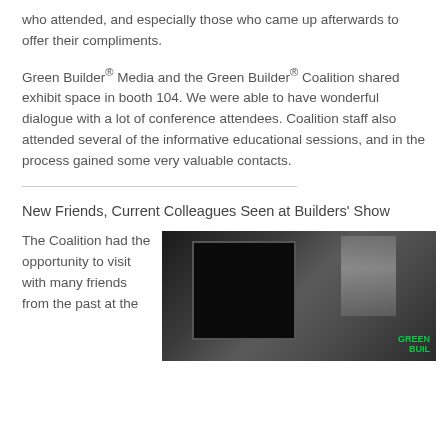who attended, and especially those who came up afterwards to offer their compliments.
Green Builder® Media and the Green Builder® Coalition shared exhibit space in booth 104. We were able to have wonderful dialogue with a lot of conference attendees. Coalition staff also attended several of the informative educational sessions, and in the process gained some very valuable contacts.
New Friends, Current Colleagues Seen at Builders' Show
The Coalition had the opportunity to visit with many friends from the past at the
[Figure (photo): Photo of a trade show booth with a large dark monitor/screen visible in the foreground, exhibition hall environment, and a Green Builder sign visible in the background lower right.]